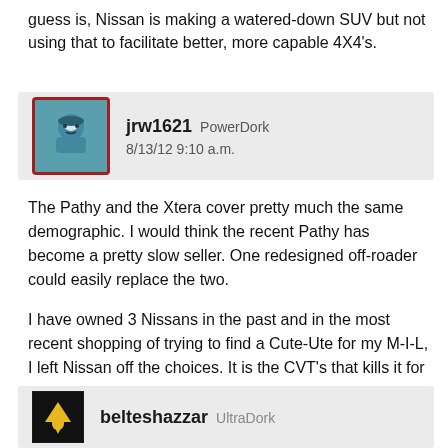guess is, Nissan is making a watered-down SUV but not using that to facilitate better, more capable 4X4's.
jrw1621  PowerDork
8/13/12 9:10 a.m.
The Pathy and the Xtera cover pretty much the same demographic. I would think the recent Pathy has become a pretty slow seller. One redesigned off-roader could easily replace the two.

I have owned 3 Nissans in the past and in the most recent shopping of trying to find a Cute-Ute for my M-I-L, I left Nissan off the choices. It is the CVT's that kills it for me.

As for the X-trail as shown above, it was never sold in the US.
belteshazzar  UltraDork